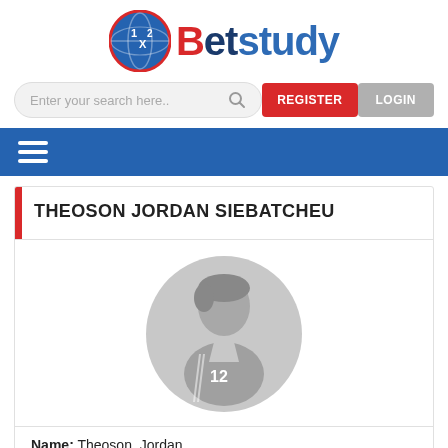[Figure (logo): Betstudy logo with blue globe and 1x2 text, red and blue Betstudy wordmark]
[Figure (screenshot): Search bar with placeholder 'Enter your search here..', REGISTER (red) and LOGIN (grey) buttons]
[Figure (screenshot): Blue navigation bar with hamburger menu icon]
THEOSON JORDAN SIEBATCHEU
[Figure (photo): Generic grey silhouette player avatar with number 12 on jersey, inside grey circle]
Name: Theoson, Jordan